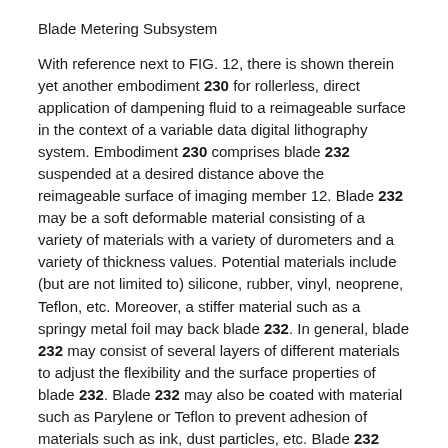Blade Metering Subsystem
With reference next to FIG. 12, there is shown therein yet another embodiment 230 for rollerless, direct application of dampening fluid to a reimageable surface in the context of a variable data digital lithography system. Embodiment 230 comprises blade 232 suspended at a desired distance above the reimageable surface of imaging member 12. Blade 232 may be a soft deformable material consisting of a variety of materials with a variety of durometers and a variety of thickness values. Potential materials include (but are not limited to) silicone, rubber, vinyl, neoprene, Teflon, etc. Moreover, a stiffer material such as a springy metal foil may back blade 232. In general, blade 232 may consist of several layers of different materials to adjust the flexibility and the surface properties of blade 232. Blade 232 may also be coated with material such as Parylene or Teflon to prevent adhesion of materials such as ink, dust particles, etc. Blade 232 may also be electrically conductive to dissipate charge.
A dampening fluid source 234, such as a pressurized nozzle ejector, deposits dampening fluid in a region